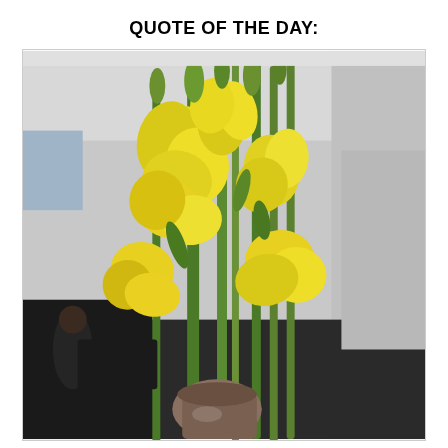QUOTE OF THE DAY:
[Figure (photo): Photograph of yellow gladiolus flowers in a bouquet, with green stems and buds, set against an indoor background with blurred figures and furniture visible.]